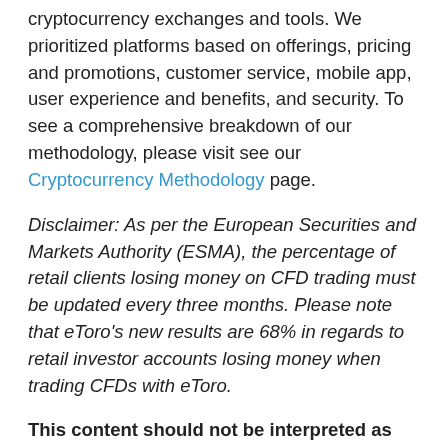cryptocurrency exchanges and tools. We prioritized platforms based on offerings, pricing and promotions, customer service, mobile app, user experience and benefits, and security. To see a comprehensive breakdown of our methodology, please visit see our Cryptocurrency Methodology page.
Disclaimer: As per the European Securities and Markets Authority (ESMA), the percentage of retail clients losing money on CFD trading must be updated every three months. Please note that eToro's new results are 68% in regards to retail investor accounts losing money when trading CFDs with eToro.
This content should not be interpreted as